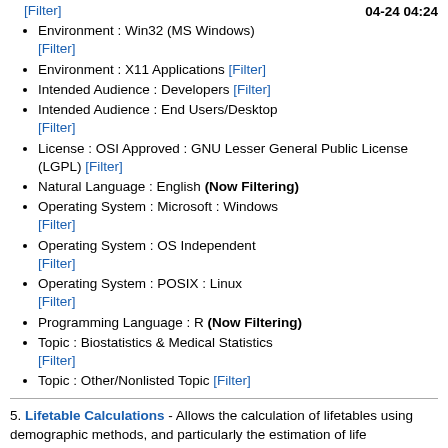04-24 04:24
[Filter]
Environment : Win32 (MS Windows) [Filter]
Environment : X11 Applications [Filter]
Intended Audience : Developers [Filter]
Intended Audience : End Users/Desktop [Filter]
License : OSI Approved : GNU Lesser General Public License (LGPL) [Filter]
Natural Language : English (Now Filtering)
Operating System : Microsoft : Windows [Filter]
Operating System : OS Independent [Filter]
Operating System : POSIX : Linux [Filter]
Programming Language : R (Now Filtering)
Topic : Biostatistics & Medical Statistics [Filter]
Topic : Other/Nonlisted Topic [Filter]
5. Lifetable Calculations - Allows the calculation of lifetables using demographic methods, and particularly the estimation of life expectancy in people at increased relative risk and excess risk of death. Status - Working, but only limited features. Email for now if you want it.